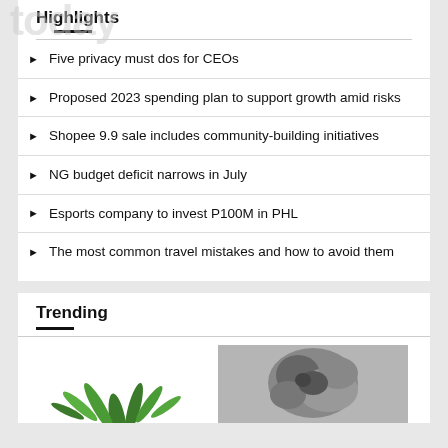today
Highlights
Five privacy must dos for CEOs
Proposed 2023 spending plan to support growth amid risks
Shopee 9.9 sale includes community-building initiatives
NG budget deficit narrows in July
Esports company to invest P100M in PHL
The most common travel mistakes and how to avoid them
Trending
[Figure (photo): Plant (green leaves) and a grayscale photo thumbnail in trending section]